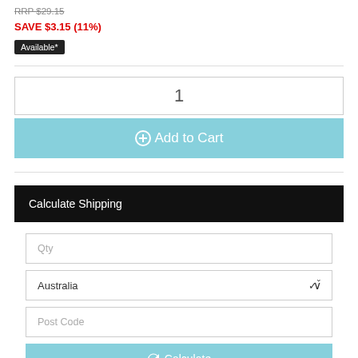RRP $29.15
SAVE $3.15 (11%)
Available*
1
⊕Add to Cart
Calculate Shipping
Qty
Australia
Post Code
↻ Calculate